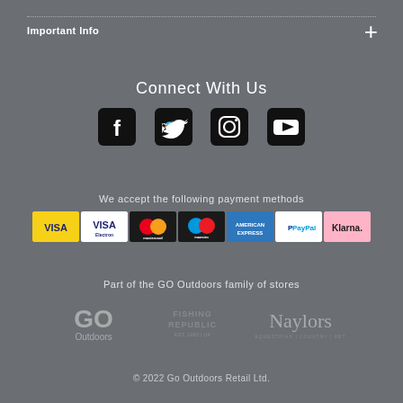Important Info
Connect With Us
[Figure (infographic): Social media icons: Facebook, Twitter, Instagram, YouTube]
We accept the following payment methods
[Figure (infographic): Payment method logos: VISA (yellow), VISA (white/Electron), Mastercard, Maestro, American Express, PayPal, Klarna]
Part of the GO Outdoors family of stores
[Figure (logo): GO Outdoors logo, Fishing Republic logo, Naylors Equestrian Country Pet logo]
© 2022 Go Outdoors Retail Ltd.